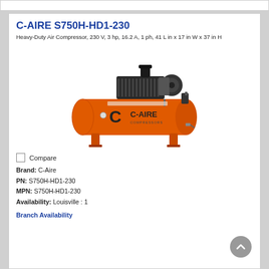C-AIRE S750H-HD1-230
Heavy-Duty Air Compressor, 230 V, 3 hp, 16.2 A, 1 ph, 41 L in x 17 in W x 37 in H
[Figure (photo): Orange C-AIRE heavy-duty air compressor with black motor assembly on top, mounted on orange legs, with C-AIRE COMPRESSORS logo on the tank.]
Compare
Brand: C-Aire
PN: S750H-HD1-230
MPN: S750H-HD1-230
Availability: Louisville : 1
Branch Availability